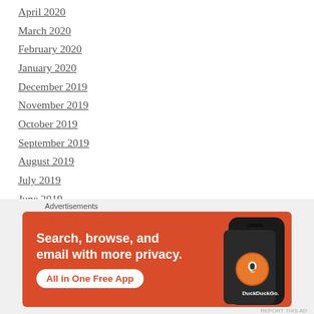April 2020
March 2020
February 2020
January 2020
December 2019
November 2019
October 2019
September 2019
August 2019
July 2019
June 2019
March 2019
February 2019
Advertisements
[Figure (infographic): DuckDuckGo advertisement banner: orange background with phone image showing DuckDuckGo logo. Text: 'Search, browse, and email with more privacy. All in One Free App DuckDuckGo.']